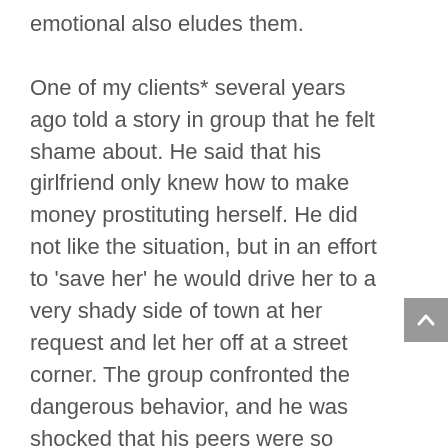emotional also eludes them.

One of my clients* several years ago told a story in group that he felt shame about. He said that his girlfriend only knew how to make money prostituting herself. He did not like the situation, but in an effort to ‘save her’ he would drive her to a very shady side of town at her request and let her off at a street corner. The group confronted the dangerous behavior, and he was shocked that his peers were so concerned. After his response, I said to him, “You have no danger filter.” He asked me to explain. I